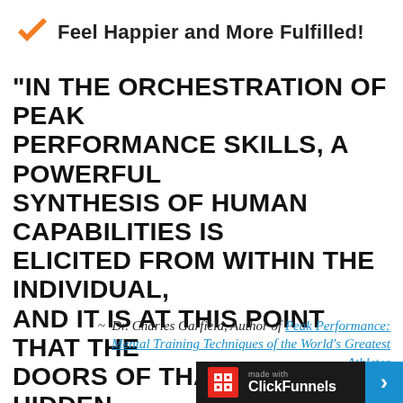Feel Happier and More Fulfilled!
"In the orchestration of peak performance skills, a powerful synthesis of human capabilities is elicited from within the individual, and it is at this point that the doors of that person's hidden reserves are flung wide open."
~ Dr. Charles Garfield, Author of Peak Performance: Mental Training Techniques of the World's Greatest Athletes
[Figure (logo): ClickFunnels made with logo badge in dark bar with blue arrow]